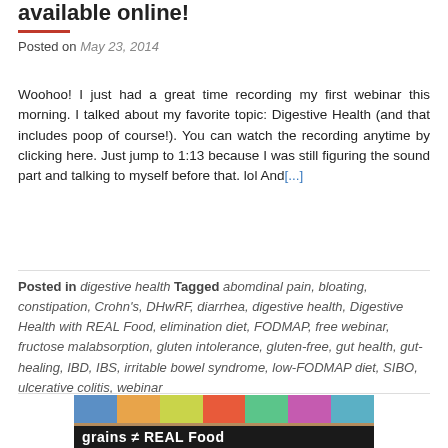available online!
Posted on May 23, 2014
Woohoo! I just had a great time recording my first webinar this morning. I talked about my favorite topic: Digestive Health (and that includes poop of course!). You can watch the recording anytime by clicking here. Just jump to 1:13 because I was still figuring the sound part and talking to myself before that. lol And[...]
Posted in digestive health Tagged abomdinal pain, bloating, constipation, Crohn's, DHwRF, diarrhea, digestive health, Digestive Health with REAL Food, elimination diet, FODMAP, free webinar, fructose malabsorption, gluten intolerance, gluten-free, gut health, gut-healing, IBD, IBS, irritable bowel syndrome, low-FODMAP diet, SIBO, ulcerative colitis, webinar
[Figure (photo): Food product image with text overlay reading 'grains ≠ REAL Food']